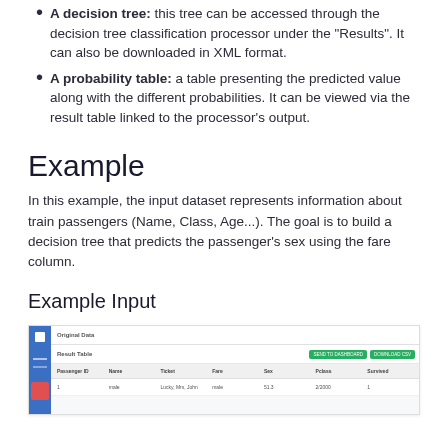A decision tree: this tree can be accessed through the decision tree classification processor under the "Results". It can also be downloaded in XML format.
A probability table: a table presenting the predicted value along with the different probabilities. It can be viewed via the result table linked to the processor's output.
Example
In this example, the input dataset represents information about train passengers (Name, Class, Age...). The goal is to build a decision tree that predicts the passenger's sex using the fare column.
Example Input
[Figure (screenshot): Screenshot of a web application showing a Result Table with columns for Passenger ID, Name, Ticket, Fare, Sex, Pclass, Survived, with one data row visible. Two green buttons appear in the top right corner.]